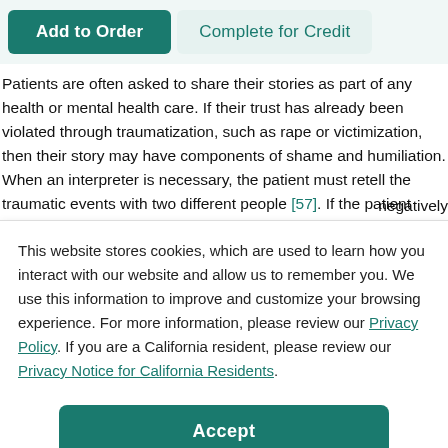[Figure (screenshot): Navigation buttons: 'Add to Order' (teal filled) and 'Complete for Credit' (light teal outline)]
Patients are often asked to share their stories as part of any health or mental health care. If their trust has already been violated through traumatization, such as rape or victimization, then their story may have components of shame and humiliation. When an interpreter is necessary, the patient must retell the traumatic events with two different people [57]. If the patient perceives anyone in the clinical process as being cold and/or judgmental, then the trust is adversely
This website stores cookies, which are used to learn how you interact with our website and allow us to remember you. We use this information to improve and customize your browsing experience. For more information, please review our Privacy Policy. If you are a California resident, please review our Privacy Notice for California Residents.
(negatively nd feels as
ne er with eyed ding trust petence, as patients
accurately. Second are shared goals between the practitioner and interpreter.